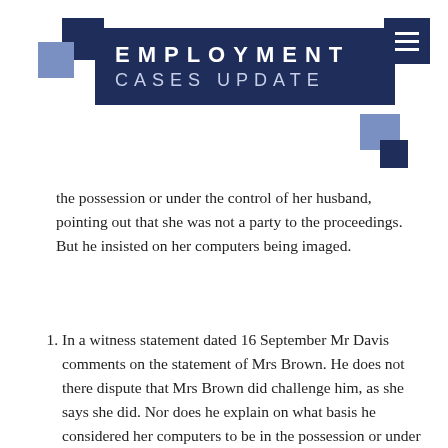[Figure (logo): Employment Cases Update logo with dark navy and light blue geometric squares and navy banner with title text]
the possession or under the control of her husband, pointing out that she was not a party to the proceedings. But he insisted on her computers being imaged.
In a witness statement dated 16 September Mr Davis comments on the statement of Mrs Brown. He does not there dispute that Mrs Brown did challenge him, as she says she did. Nor does he explain on what basis he considered her computers to be in the possession or under the control of her